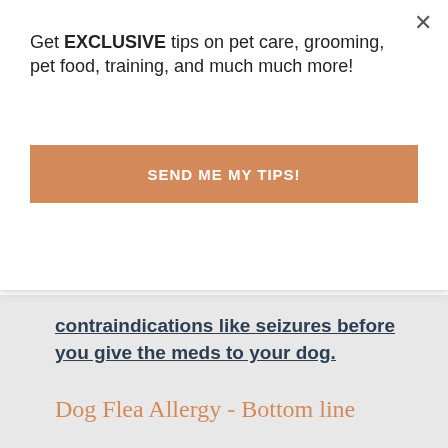Get EXCLUSIVE tips on pet care, grooming, pet food, training, and much much more!
SEND ME MY TIPS!
contraindications like seizures before you give the meds to your dog.
Dog Flea Allergy - Bottom line
[Figure (photo): A small fluffy light-colored dog (Maltese or similar breed) being groomed, looking at the camera. Person in teal/blue clothing visible in background with grooming tools.]